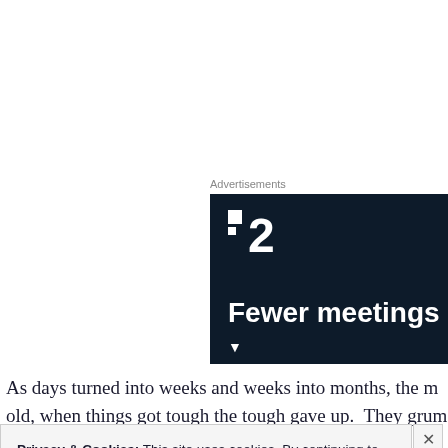Advertisements
[Figure (other): Advertisement banner with dark navy background showing a logo with small squares and the number 2, followed by text 'Fewer meetings']
As days turned into weeks and weeks into months, the m old, when things got tough the tough gave up.  They grum
Privacy & Cookies: This site uses cookies. By continuing to use this website, you agree to their use.
To find out more, including how to control cookies, see here: Cookie Policy
Close and accept